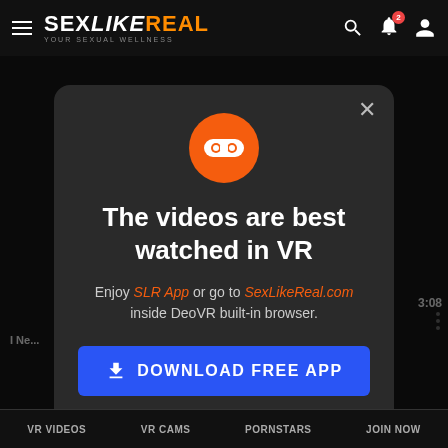SEXLIKEREAL — YOUR SEXUAL WELLNESS
[Figure (screenshot): Modal dialog popup on SexLikeReal website promoting VR app download, with orange VR headset icon, title text, description, download button, and dismiss button]
The videos are best watched in VR
Enjoy SLR App or go to SexLikeReal.com inside DeoVR built-in browser.
DOWNLOAD FREE APP
NOT NOW
VR VIDEOS   VR CAMS   PORNSTARS   JOIN NOW